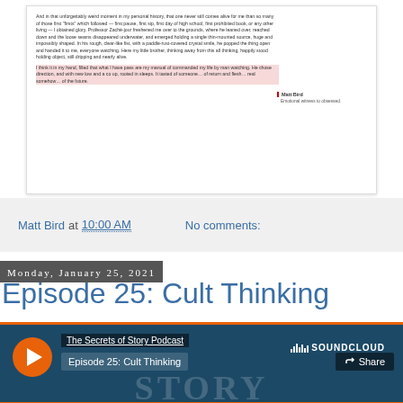[Figure (screenshot): A document page preview with text columns, a pink/red highlighted passage, and a sidebar annotation labeled 'Matt Bird' with comment text.]
Matt Bird at 10:00 AM    No comments:
Monday, January 25, 2021
Episode 25: Cult Thinking
[Figure (screenshot): SoundCloud embed player showing 'The Secrets of Story Podcast' and 'Episode 25: Cult Thinking' with a play button, Share button, SoundCloud logo, and decorative 'STORY' text in background.]